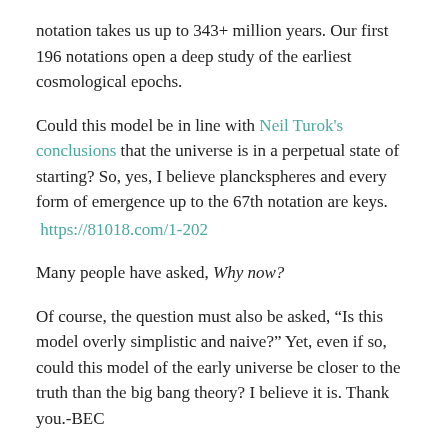notation takes us up to 343+ million years. Our first 196 notations open a deep study of the earliest cosmological epochs.
Could this model be in line with Neil Turok's conclusions that the universe is in a perpetual state of starting? So, yes, I believe planckspheres and every form of emergence up to the 67th notation are keys. https://81018.com/1-202
Many people have asked, Why now?
Of course, the question must also be asked, “Is this model overly simplistic and naive?” Yet, even if so, could this model of the early universe be closer to the truth than the big bang theory? I believe it is. Thank you.-BEC